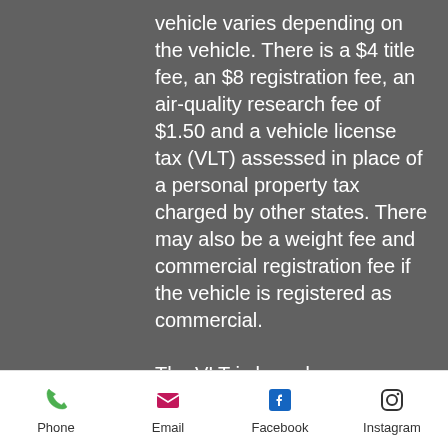vehicle varies depending on the vehicle. There is a $4 title fee, an $8 registration fee, an air-quality research fee of $1.50 and a vehicle license tax (VLT) assessed in place of a personal property tax charged by other states. There may also be a weight fee and commercial registration fee if the vehicle is registered as commercial. The VLT is based on an assessed value from the manufacturer's base retail price and is reduced each year since the vehicle was first registered.  This fee is individual to each vehicle and will be pulled up by the vehicle's VIN. As a Third Party Motor Vehicle office,
Phone | Email | Facebook | Instagram